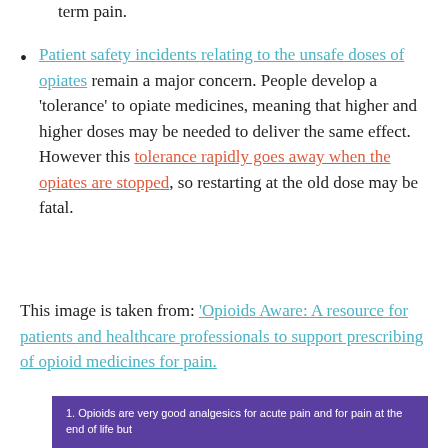term pain.
Patient safety incidents relating to the unsafe doses of opiates remain a major concern. People develop a 'tolerance' to opiate medicines, meaning that higher and higher doses may be needed to deliver the same effect. However this tolerance rapidly goes away when the opiates are stopped, so restarting at the old dose may be fatal.
This image is taken from: 'Opioids Aware: A resource for patients and healthcare professionals to support prescribing of opioid medicines for pain.
1. Opioids are very good analgesics for acute pain and for pain at the end of life but